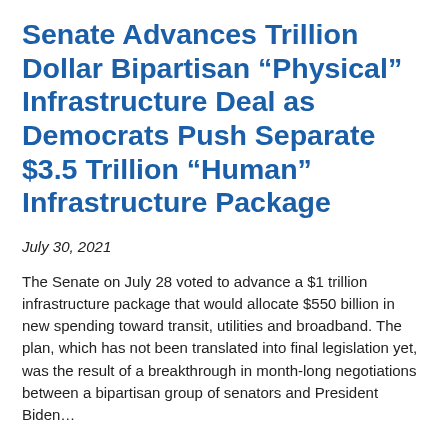Senate Advances Trillion Dollar Bipartisan “Physical” Infrastructure Deal as Democrats Push Separate $3.5 Trillion “Human” Infrastructure Package
July 30, 2021
The Senate on July 28 voted to advance a $1 trillion infrastructure package that would allocate $550 billion in new spending toward transit, utilities and broadband. The plan, which has not been translated into final legislation yet, was the result of a breakthrough in month-long negotiations between a bipartisan group of senators and President Biden…